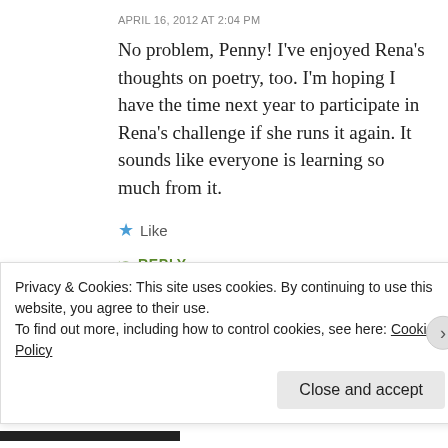APRIL 16, 2012 AT 2:04 PM
No problem, Penny! I've enjoyed Rena's thoughts on poetry, too. I'm hoping I have the time next year to participate in Rena's challenge if she runs it again. It sounds like everyone is learning so much from it.
★ Like
↪ REPLY
Rena J. Traxel
APRIL 19, 2012 AT 5:32 PM
Privacy & Cookies: This site uses cookies. By continuing to use this website, you agree to their use.
To find out more, including how to control cookies, see here: Cookie Policy
Close and accept